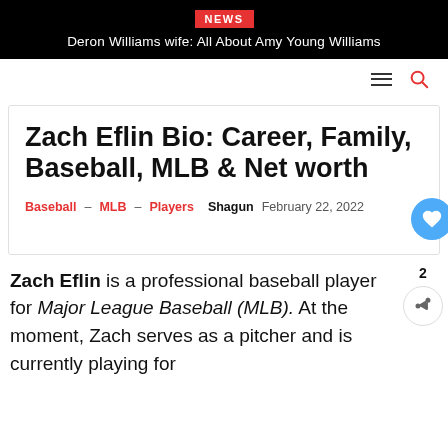NEWS | Deron Williams wife: All About Amy Young Williams
Zach Eflin Bio: Career, Family, Baseball, MLB & Net worth
Baseball – MLB – Players  Shagun  February 22, 2022
Zach Eflin is a professional baseball player for Major League Baseball (MLB). At the moment, Zach serves as a pitcher and is currently playing for